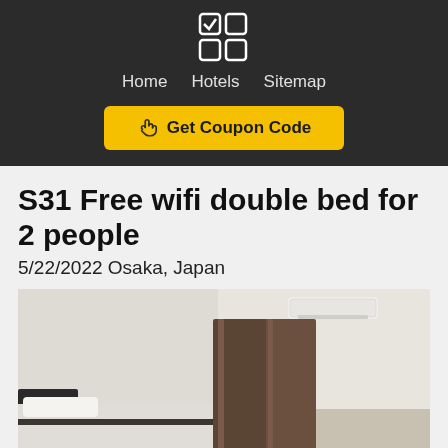Home   Hotels   Sitemap
Get Coupon Code
S31 Free wifi double bed for 2 people
5/22/2022 Osaka, Japan
[Figure (photo): Hotel room with a double bed, brown curtains, and a wall-mounted air conditioning unit. The room has white walls and minimal furniture.]